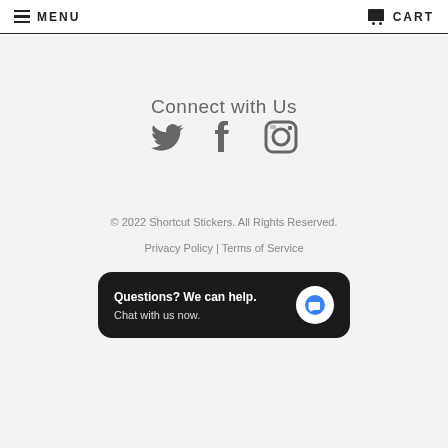MENU   CART
Connect with Us
[Figure (illustration): Three social media icons: Twitter bird, Facebook f, Instagram camera]
© 2022 Shortcut Stickers. All Rights Reserved.
Privacy Policy | Terms of Service
Questions? We can help. Chat with us now.